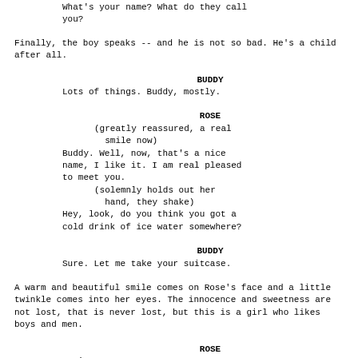What's your name? What do they call you?
Finally, the boy speaks -- and he is not so bad. He's a child after all.
BUDDY
Lots of things. Buddy, mostly.
ROSE
(greatly reassured, a real smile now)
Buddy. Well, now, that's a nice name, I like it. I am real pleased to meet you.
(solemnly holds out her hand, they shake)
Hey, look, do you think you got a cold drink of ice water somewhere?
BUDDY
Sure. Let me take your suitcase.
A warm and beautiful smile comes on Rose's face and a little twinkle comes into her eyes. The innocence and sweetness are not lost, that is never lost, but this is a girl who likes boys and men.
ROSE
You're sweet.
INT. HILLYER HOME BEDROOM STUDY - DAY